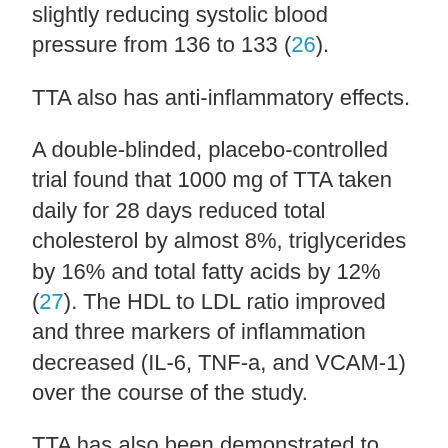slightly reducing systolic blood pressure from 136 to 133 (26).
TTA also has anti-inflammatory effects.
A double-blinded, placebo-controlled trial found that 1000 mg of TTA taken daily for 28 days reduced total cholesterol by almost 8%, triglycerides by 16% and total fatty acids by 12% (27). The HDL to LDL ratio improved and three markers of inflammation decreased (IL-6, TNF-a, and VCAM-1) over the course of the study.
TTA has also been demonstrated to have high bioavailability. A study testing its pharmacology and safety found that TTA was is detectable in the blood following a week of supplement cessation (28). However, it was not detectable three weeks later.